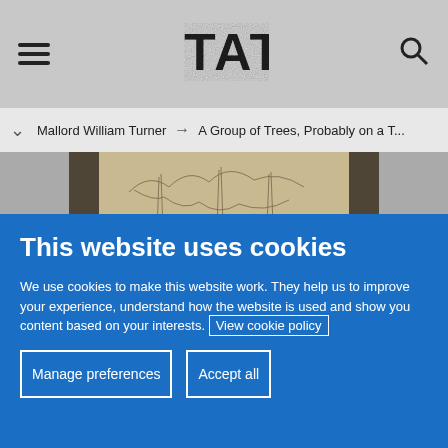TATE — header with hamburger menu and search icon
Mallord William Turner → A Group of Trees, Probably on a T...
[Figure (illustration): Partial view of a pencil sketch artwork showing trees, displayed against a grey background with dark vertical bars on the sides]
This website uses cookies
We use cookies to make this website work. They help us to improve your experience, understand how the website is used and show you content based on your interests. View cookie policy
Manage preferences
Accept all